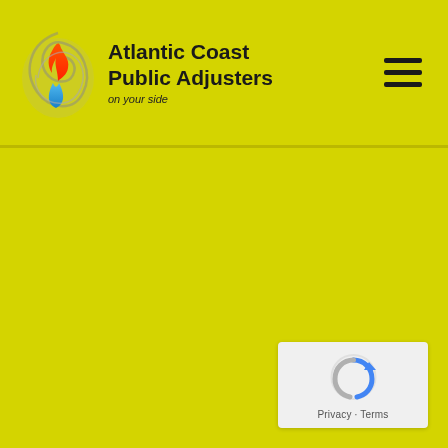[Figure (logo): Atlantic Coast Public Adjusters logo with flame/water droplet swirl icon and text 'Atlantic Coast Public Adjusters on your side']
[Figure (other): Hamburger menu icon (three horizontal lines) in top right navigation]
[Figure (other): Google reCAPTCHA badge in bottom right corner with reCAPTCHA logo and Privacy - Terms text]